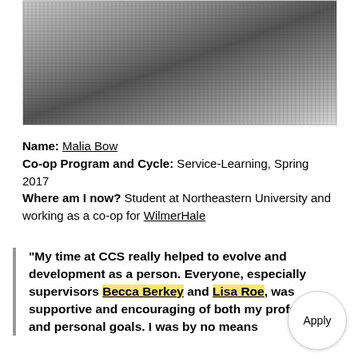[Figure (photo): Close-up photo of a person wearing a knit sweater and jacket, partially cropped showing collar and torso area in grayscale tones.]
Name: Malia Bow
Co-op Program and Cycle: Service-Learning, Spring 2017
Where am I now? Student at Northeastern University and working as a co-op for WilmerHale
“My time at CCS really helped to evolve and development as a person. Everyone, especially supervisors Becca Berkey and Lisa Roe, was supportive and encouraging of both my professional and personal goals. I was by no means